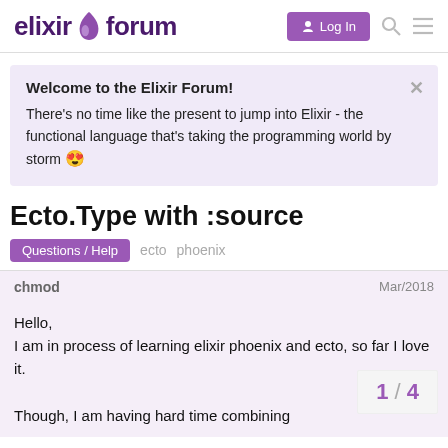elixir forum — Log In
Welcome to the Elixir Forum!
There's no time like the present to jump into Elixir - the functional language that's taking the programming world by storm 😍
Ecto.Type with :source
Questions / Help   ecto   phoenix
chmod   Mar/2018

Hello,
I am in process of learning elixir phoenix and ecto, so far I love it.

Though, I am having hard time combining
1 / 4